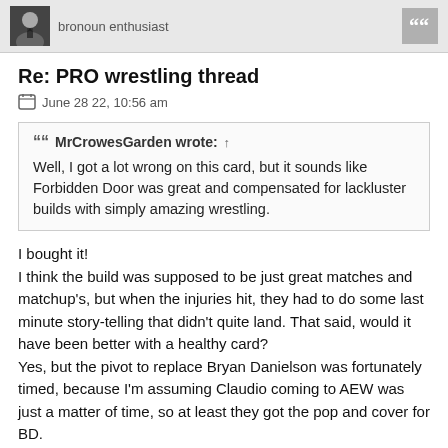bronoun enthusiast
Re: PRO wrestling thread
June 28 22, 10:56 am
MrCrowesGarden wrote: ↑
Well, I got a lot wrong on this card, but it sounds like Forbidden Door was great and compensated for lackluster builds with simply amazing wrestling.
I bought it!
I think the build was supposed to be just great matches and matchup's, but when the injuries hit, they had to do some last minute story-telling that didn't quite land. That said, would it have been better with a healthy card?
Yes, but the pivot to replace Bryan Danielson was fortunately timed, because I'm assuming Claudio coming to AEW was just a matter of time, so at least they got the pop and cover for BD.
Giving Mox the belt to build for Punk's return is probably best case scenario and he certainly was able to do the heavy lifting to carry Tanahashi, who I will take everyone's word on the fact that he was